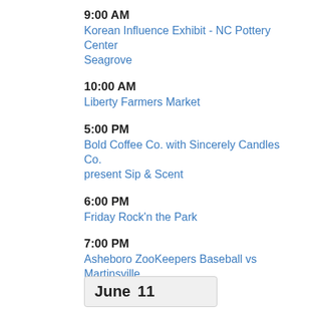9:00 AM
Korean Influence Exhibit - NC Pottery Center Seagrove
10:00 AM
Liberty Farmers Market
5:00 PM
Bold Coffee Co. with Sincerely Candles Co. present Sip & Scent
6:00 PM
Friday Rock'n the Park
7:00 PM
Asheboro ZooKeepers Baseball vs Martinsville Mustangs
June  11